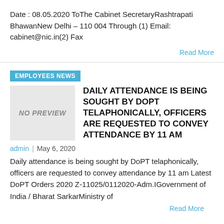Date : 08.05.2020 ToThe Cabinet SecretaryRashtrapati BhawanNew Delhi – 110 004 Through (1) Email: cabinet@nic.in(2) Fax
Read More
EMPLOYEES NEWS
DAILY ATTENDANCE IS BEING SOUGHT BY DOPT TELAPHONICALLY, OFFICERS ARE REQUESTED TO CONVEY ATTENDANCE BY 11 AM
admin | May 6, 2020
Daily attendance is being sought by DoPT telaphonically, officers are requested to convey attendance by 11 am Latest DoPT Orders 2020 Z-11025/0112020-Adm.IGovernment of India / Bharat SarkarMinistry of
Read More